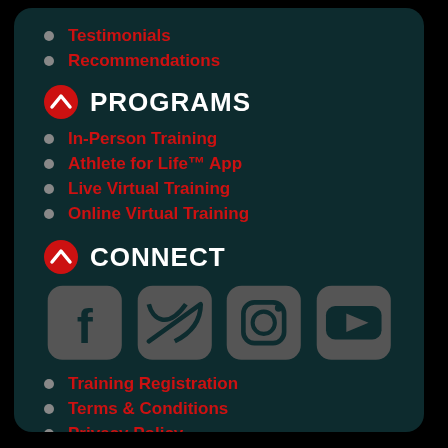Testimonials
Recommendations
PROGRAMS
In-Person Training
Athlete for Life™ App
Live Virtual Training
Online Virtual Training
CONNECT
[Figure (infographic): Social media icons: Facebook, Twitter, Instagram, YouTube]
Training Registration
Terms & Conditions
Privacy Policy
Disclaimer